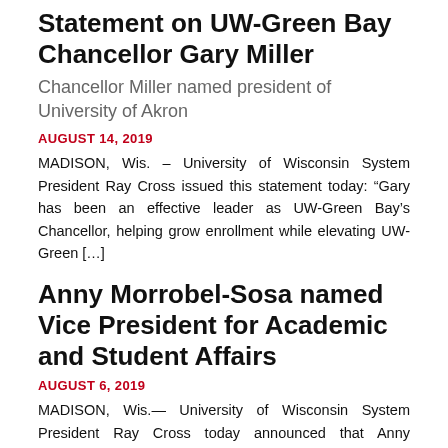Statement on UW-Green Bay Chancellor Gary Miller
Chancellor Miller named president of University of Akron
AUGUST 14, 2019
MADISON, Wis. – University of Wisconsin System President Ray Cross issued this statement today: “Gary has been an effective leader as UW-Green Bay’s Chancellor, helping grow enrollment while elevating UW-Green […]
Anny Morrobel-Sosa named Vice President for Academic and Student Affairs
AUGUST 6, 2019
MADISON, Wis.— University of Wisconsin System President Ray Cross today announced that Anny Morrobel-Sosa has accepted his offer to serve as Vice President for Academic and Student Affairs. She begins […]